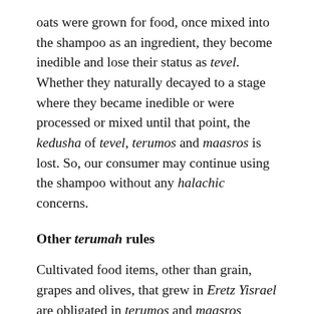oats were grown for food, once mixed into the shampoo as an ingredient, they become inedible and lose their status as tevel. Whether they naturally decayed to a stage where they became inedible or were processed or mixed until that point, the kedusha of tevel, terumos and maasros is lost. So, our consumer may continue using the shampoo without any halachic concerns.
Other terumah rules
Cultivated food items, other than grain, grapes and olives, that grew in Eretz Yisrael are obligated in terumos and maasros miderabbanan. There are a few interesting exceptions: for example, there is no obligation to separate terumos and maasros from mushrooms; since they are fungi, they are not considered as growing from the ground. This also affects their brocha, which is shehakol and not